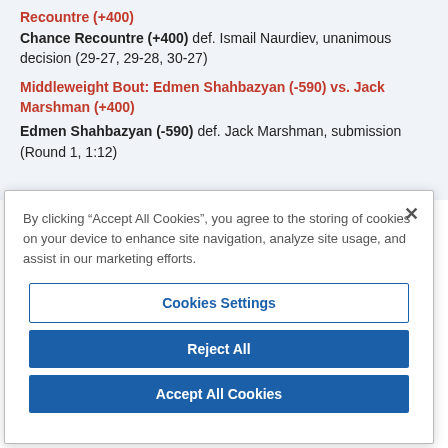Recountre (+400)
Chance Recountre (+400) def. Ismail Naurdiev, unanimous decision (29-27, 29-28, 30-27)
Middleweight Bout: Edmen Shahbazyan (-590) vs. Jack Marshman (+400)
Edmen Shahbazyan (-590) def. Jack Marshman, submission (Round 1, 1:12)
By clicking “Accept All Cookies”, you agree to the storing of cookies on your device to enhance site navigation, analyze site usage, and assist in our marketing efforts.
Cookies Settings
Reject All
Accept All Cookies